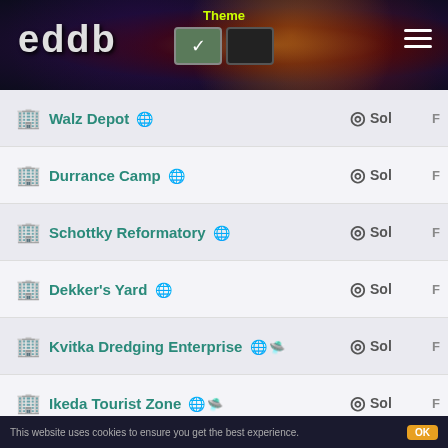eddb - Theme toggle header with navigation
Walz Depot - Sol
Durrance Camp - Sol
Schottky Reformatory - Sol
Dekker's Yard - Sol
Kvitka Dredging Enterprise - Sol
Ikeda Tourist Zone - Sol
Grebby Prospecting - Sol
Hidalgo's Slumber - Sol
Avery Manufacturing Hub - Sol
Alasa Industries - Sol
Lamar's Prospect - Sol
Majoro Entertainment Complex - Sol
Oshpak's House - Sol
Florianz Mining Prospect - Sol
Fencer Industrial Moulding - Sol
This website uses cookies to ensure you get the best experience.